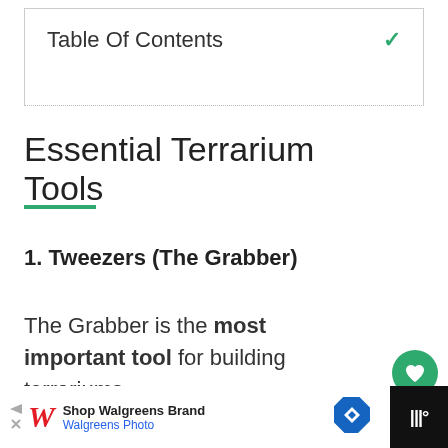Table Of Contents
Essential Terrarium Tools
1. Tweezers (The Grabber)
The Grabber is the most important tool for building terrariums.
[Figure (other): Advertisement bar: Shop Walgreens Brand / Walgreens Photo with Walgreens logo and navigation icons]